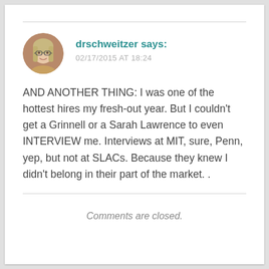[Figure (photo): Circular avatar photo of a woman with long blonde/gray hair and glasses, on a warm-toned background]
drschweitzer says: 02/17/2015 AT 18:24
AND ANOTHER THING: I was one of the hottest hires my fresh-out year. But I couldn’t get a Grinnell or a Sarah Lawrence to even INTERVIEW me. Interviews at MIT, sure, Penn, yep, but not at SLACs. Because they knew I didn’t belong in their part of the market. .
Comments are closed.